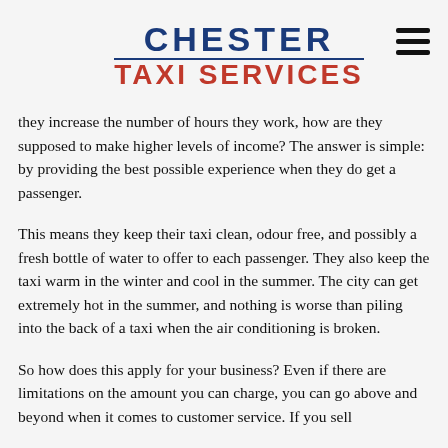CHESTER TAXI SERVICES
they increase the number of hours they work, how are they supposed to make higher levels of income? The answer is simple: by providing the best possible experience when they do get a passenger.
This means they keep their taxi clean, odour free, and possibly a fresh bottle of water to offer to each passenger. They also keep the taxi warm in the winter and cool in the summer. The city can get extremely hot in the summer, and nothing is worse than piling into the back of a taxi when the air conditioning is broken.
So how does this apply for your business? Even if there are limitations on the amount you can charge, you can go above and beyond when it comes to customer service. If you sell products, make sure the packaging or presentation is...